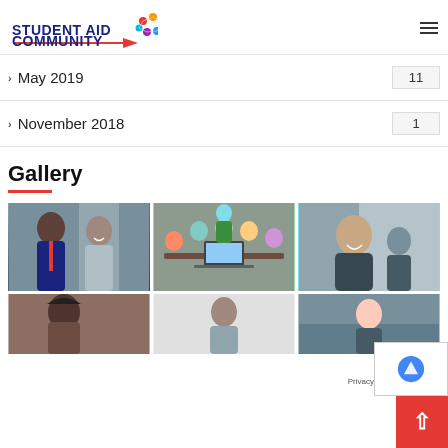[Figure (logo): Student Aid Community logo with colorful icon]
May 2019  11
November 2018  1
Gallery
[Figure (photo): Two professionals (man in suit with red tie, woman smiling) in an office]
[Figure (photo): Group of students around a table with laptops in a meeting or classroom]
[Figure (photo): Young woman smiling in a classroom or office setting]
[Figure (photo): Person with head covering, partial view, lower gallery row]
[Figure (photo): Woman at a workspace, partial view, lower gallery row]
[Figure (photo): Person in office setting, partial view, lower gallery row]